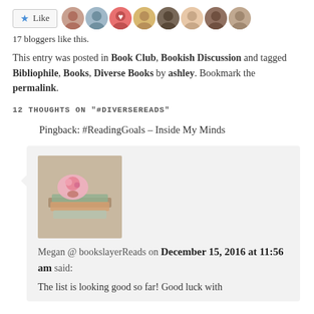[Figure (other): Like button with star icon and 8 blogger avatar photos]
17 bloggers like this.
This entry was posted in Book Club, Bookish Discussion and tagged Bibliophile, Books, Diverse Books by ashley. Bookmark the permalink.
12 THOUGHTS ON "#DIVERSEREADS"
Pingback: #ReadingGoals – Inside My Minds
[Figure (photo): Stack of books with a flower on top - commenter avatar for Megan @ bookslayerReads]
Megan @ bookslayerReads on December 15, 2016 at 11:56 am said:
The list is looking good so far! Good luck with